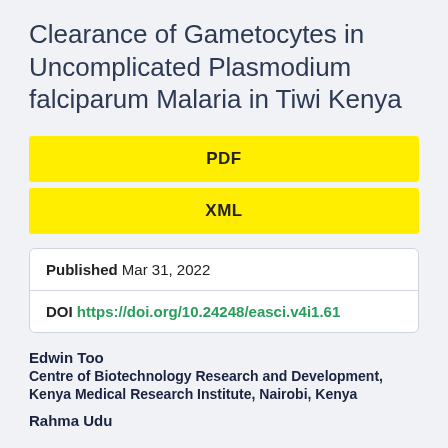Clearance of Gametocytes in Uncomplicated Plasmodium falciparum Malaria in Tiwi Kenya
PDF
XML
| Published | Mar 31, 2022 |
| DOI | https://doi.org/10.24248/easci.v4i1.61 |
Edwin Too
Centre of Biotechnology Research and Development, Kenya Medical Research Institute, Nairobi, Kenya
Rahma Udu